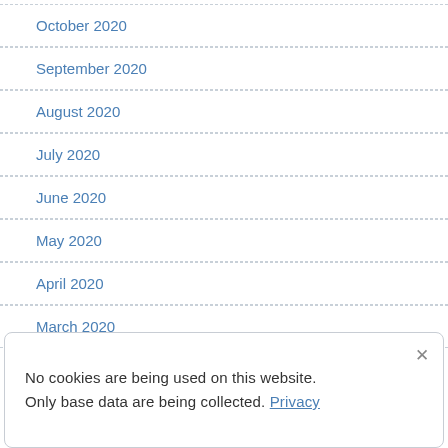October 2020
September 2020
August 2020
July 2020
June 2020
May 2020
April 2020
March 2020
No cookies are being used on this website. Only base data are being collected. Privacy